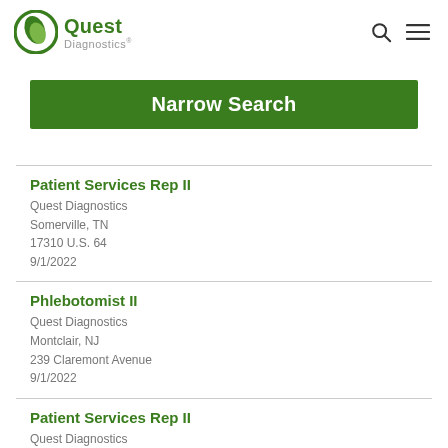Quest Diagnostics
Narrow Search
Patient Services Rep II
Quest Diagnostics
Somerville, TN
17310 U.S. 64
9/1/2022
Phlebotomist II
Quest Diagnostics
Montclair, NJ
239 Claremont Avenue
9/1/2022
Patient Services Rep II
Quest Diagnostics